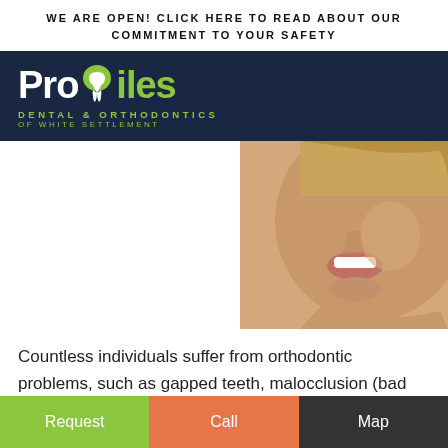WE ARE OPEN! CLICK HERE TO READ ABOUT OUR COMMITMENT TO YOUR SAFETY
[Figure (logo): ProSmiles Dental & Orthodontics of White Settlement logo on dark navy background with tooth icon and green text]
[Figure (photo): Close-up photo of a woman smiling showing white teeth, blonde hair, profile/three-quarter view]
Countless individuals suffer from orthodontic problems, such as gapped teeth, malocclusion (bad bite), and crowded teeth. Crowded teeth, which may have no space
Request   Call   Map